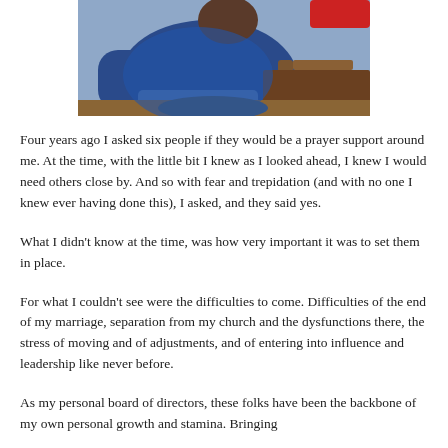[Figure (photo): A person sitting in a chair, wearing a blue sweater and jeans, viewed from behind/side. A red object and wooden furniture visible in the background.]
Four years ago I asked six people if they would be a prayer support around me. At the time, with the little bit I knew as I looked ahead, I knew I would need others close by. And so with fear and trepidation (and with no one I knew ever having done this), I asked, and they said yes.
What I didn't know at the time, was how very important it was to set them in place.
For what I couldn't see were the difficulties to come. Difficulties of the end of my marriage, separation from my church and the dysfunctions there, the stress of moving and of adjustments, and of entering into influence and leadership like never before.
As my personal board of directors, these folks have been the backbone of my own personal growth and stamina. Bringing